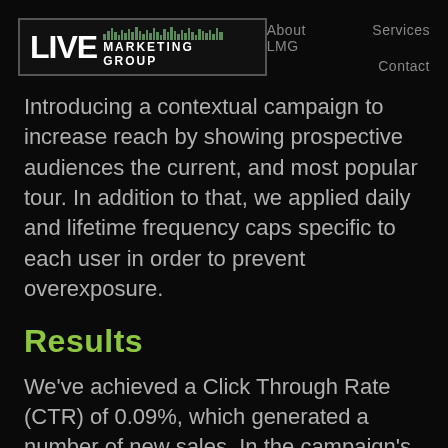LIVE MARKETING GROUP
About LMG   Services   Contact
Introducing a contextual campaign to increase reach by showing prospective audiences the current, and most popular tour. In addition to that, we applied daily and lifetime frequency caps specific to each user in order to prevent overexposure.
Results
We've achieved a Click Through Rate (CTR) of 0.09%, which generated a number of new sales. In the campaign's inaugural month of